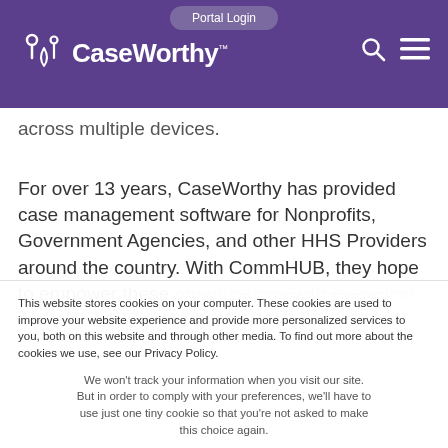Portal Login | CaseWorthy
across multiple devices.
For over 13 years, CaseWorthy has provided case management software for Nonprofits, Government Agencies, and other HHS Providers around the country. With CommHUB, they hope to empower these organizations with every tool they need to provide the
This website stores cookies on your computer. These cookies are used to improve your website experience and provide more personalized services to you, both on this website and through other media. To find out more about the cookies we use, see our Privacy Policy.
We won't track your information when you visit our site. But in order to comply with your preferences, we'll have to use just one tiny cookie so that you're not asked to make this choice again.